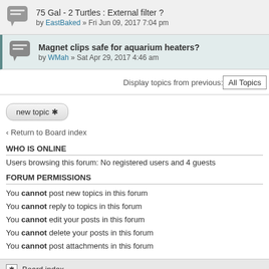75 Gal - 2 Turtles : External filter ? by EastBaked » Fri Jun 09, 2017 7:04 pm
Magnet clips safe for aquarium heaters? by WMah » Sat Apr 29, 2017 4:46 am
Display topics from previous: All Topics
[Figure (other): new topic button with asterisk icon]
« Return to Board index
WHO IS ONLINE
Users browsing this forum: No registered users and 4 guests
FORUM PERMISSIONS
You cannot post new topics in this forum
You cannot reply to topics in this forum
You cannot edit your posts in this forum
You cannot delete your posts in this forum
You cannot post attachments in this forum
Board index
Powered by php